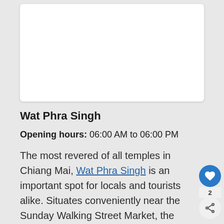[Figure (photo): White rectangular image card/placeholder at the top of the page]
Wat Phra Singh
Opening hours: 06:00 AM to 06:00 PM
The most revered of all temples in Chiang Mai, Wat Phra Singh is an important spot for locals and tourists alike. Situates conveniently near the Sunday Walking Street Market, the temple was rewarded the